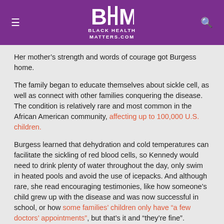BLACK HEALTH MATTERS.COM
Her mother’s strength and words of courage got Burgess home.
The family began to educate themselves about sickle cell, as well as connect with other families conquering the disease. The condition is relatively rare and most common in the African American community, affecting up to 100,000 U.S. children.
Burgess learned that dehydration and cold temperatures can facilitate the sickling of red blood cells, so Kennedy would need to drink plenty of water throughout the day, only swim in heated pools and avoid the use of icepacks. And although rare, she read encouraging testimonies, like how someone’s child grew up with the disease and was now successful in school, or how some families’ children only have “a few doctors’ appointments”, but that’s it and “they’re fine”.